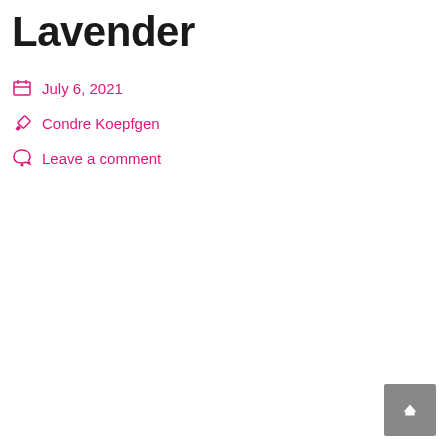Lavender
July 6, 2021
Condre Koepfgen
Leave a comment